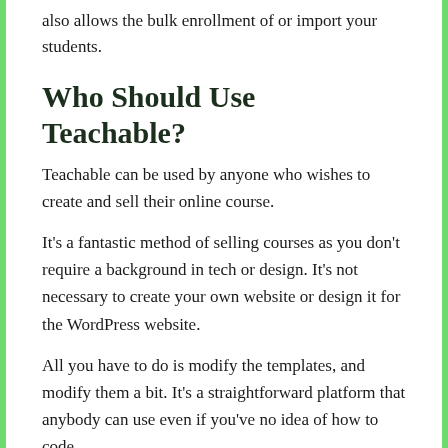also allows the bulk enrollment of or import your students.
Who Should Use Teachable?
Teachable can be used by anyone who wishes to create and sell their online course.
It's a fantastic method of selling courses as you don't require a background in tech or design. It's not necessary to create your own website or design it for the WordPress website.
All you have to do is modify the templates, and modify them a bit. It's a straightforward platform that anybody can use even if you've no idea of how to code.
Digital marketing professionals, teachers, industry specialists entrepreneurs, and teachers can use Teachable as their platform to build their courses.